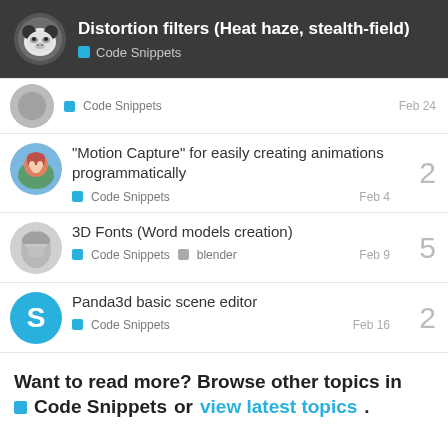Distortion filters (Heat haze, stealth-field) — Code Snippets
Code Snippets — Feb 24
“Motion Capture„ for easily creating animations programmatically — Code Snippets — Feb 4 — 2 replies
3D Fonts (Word models creation) — Code Snippets, blender — Feb 9 — 5 replies
Panda3d basic scene editor — Code Snippets — Feb 16 — 2 replies
Want to read more? Browse other topics in Code Snippets or view latest topics.